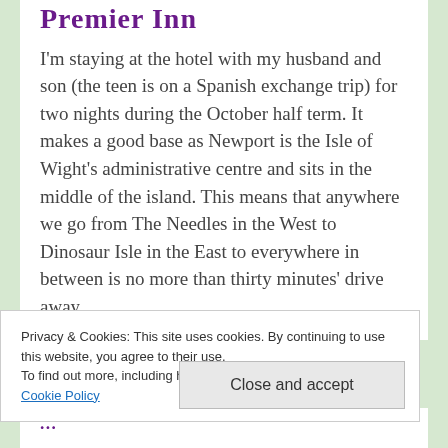Premier Inn
I'm staying at the hotel with my husband and son (the teen is on a Spanish exchange trip) for two nights during the October half term. It makes a good base as Newport is the Isle of Wight's administrative centre and sits in the middle of the island. This means that anywhere we go from The Needles in the West to Dinosaur Isle in the East to everywhere in between is no more than thirty minutes' drive away.
Privacy & Cookies: This site uses cookies. By continuing to use this website, you agree to their use.
To find out more, including how to control cookies, see here: Cookie Policy
Close and accept